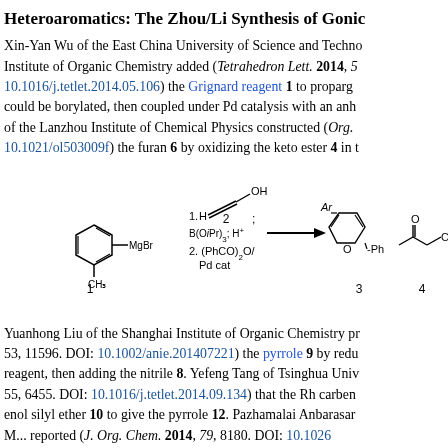Heteroaromatics: The Zhou/Li Synthesis of Gonic…
Xin-Yan Wu of the East China University of Science and Technology and the Institute of Organic Chemistry added (Tetrahedron Lett. 2014, 5… DOI: 10.1016/j.tetlet.2014.05.106) the Grignard reagent 1 to propargyl… could be borylated, then coupled under Pd catalysis with an anh… of the Lanzhou Institute of Chemical Physics constructed (Org.… DOI: 10.1021/ol503009f) the furan 6 by oxidizing the keto ester 4 in t…
[Figure (schematic): Reaction scheme showing Grignard reagent 1 (4-methylphenyl MgBr) reacting with propargyl alcohol 2 using B(OiPr)3; H+ and (PhCO)2O/Pd cat to form furan 3 (Ar-substituted furan with Ph group) and keto ester 4 (CO2Et derivative)]
Yuanhong Liu of the Shanghai Institute of Organic Chemistry pr… 53, 11596. DOI: 10.1002/anie.201407221) the pyrrole 9 by redu… reagent, then adding the nitrile 8. Yefeng Tang of Tsinghua Univ… 55, 6455. DOI: 10.1016/j.tetlet.2014.09.134) that the Rh carben… enol silyl ether 10 to give the pyrrole 12. Pazhamalai Anbarasar… M… reported (J. Org. Chem. 2014, 79, 8180. DOI: 10.1026…